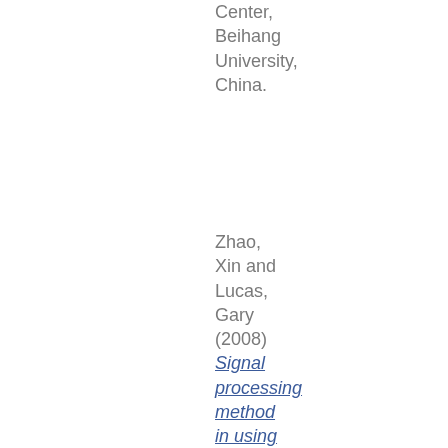Center, Beihang University, China.
Zhao, Xin and Lucas, Gary (2008) Signal processing method in using four-sensor probe for measuring the velocity